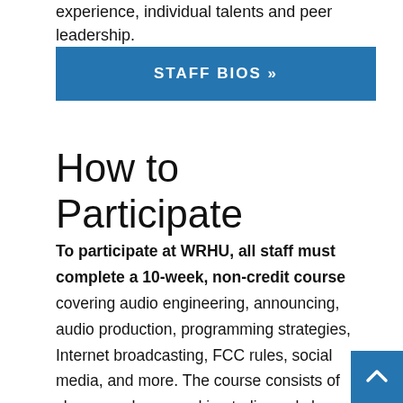experience, individual talents and peer leadership.
[Figure (other): Blue button labeled STAFF BIOS »]
How to Participate
To participate at WRHU, all staff must complete a 10-week, non-credit course covering audio engineering, announcing, audio production, programming strategies, Internet broadcasting, FCC rules, social media, and more. The course consists of classroom hours and in-studio workshops where students gain valuable hands-on experience. All staff must pass a written exam and a hands-on, in-